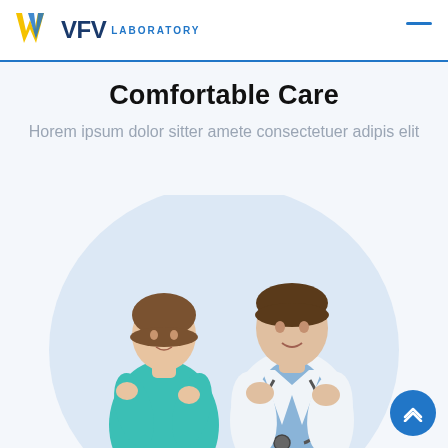VFV LABORATORY
Comfortable Care
Horem ipsum dolor sitter amete consectetuer adipis elit
[Figure (photo): Two smiling medical professionals — a female nurse in teal scrubs and a male doctor in white coat with stethoscope — standing back to back with arms crossed, inside a light blue circular background.]